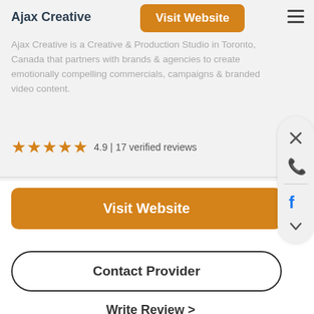Ajax Creative is a Creative & Production Studio in Toronto, Canada that partners with brands & agencies to create emotionally compelling commercials, campaigns & branded video content.
Ajax Creative
4.9 | 17 verified reviews
Visit Website
Contact Provider
Write Review >
About